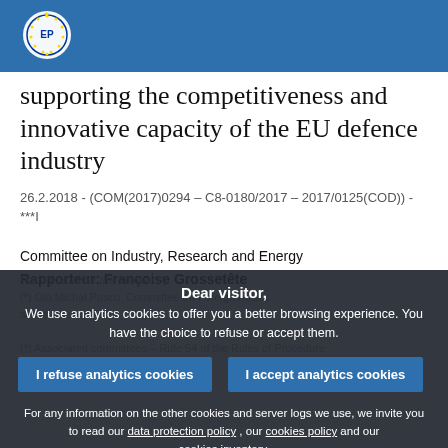European Parliament header bar with logo
supporting the competitiveness and innovative capacity of the EU defence industry
26.2.2018 - (COM(2017)0294 – C8-0180/2017 – 2017/0125(COD)) - ***I
Committee on Industry, Research and Energy
Rapporteur: Françoise Grossetête
Rapporteurs for the opinion (*)
(*) Associated committees – Rule 54 of the Rules of Procedure
Dear visitor,
We use analytics cookies to offer you a better browsing experience. You have the choice to refuse or accept them.
For any information on the other cookies and server logs we use, we invite you to read our data protection policy , our cookies policy and our cookies inventory.